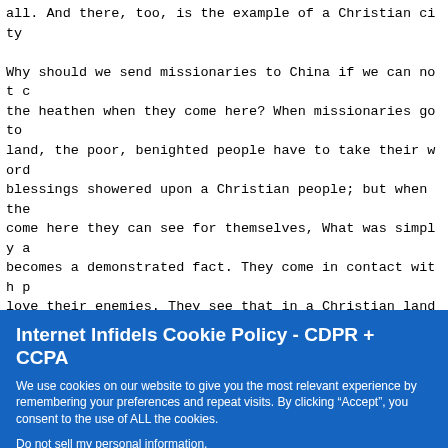all. And there, too, is the example of a Christian city

Why should we send missionaries to China if we can not c the heathen when they come here? When missionaries go to land, the poor, benighted people have to take their word blessings showered upon a Christian people; but when the come here they can see for themselves, What was simply a becomes a demonstrated fact. They come in contact with p love their enemies. They see that in a Christian land me truth; that they will not take advantage of strangers -- are just and patient, kind and tender; that they never m force; that they have no prejudice on account of color, religion; that they look upon mankind as brethren; that of God as a universal Father, and are willing to work, a suffer, for the good not only of their own countrymen, b heathen as well. All this the Chinese see and know, and still...
Internet Infidels Cookie Policy - CDPR + CCPA
We use cookies on our website to give you the most relevant experience by remembering your preferences and repeat visits. By clicking “Accept”, you consent to the use of ALL the cookies.
Do not sell my personal information.
Cookie Settings  Accept